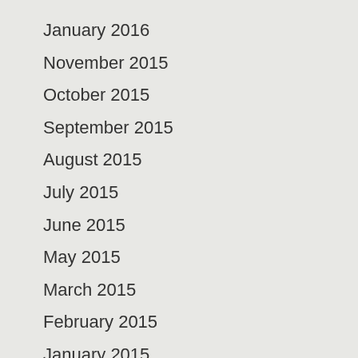January 2016
November 2015
October 2015
September 2015
August 2015
July 2015
June 2015
May 2015
March 2015
February 2015
January 2015
December 2014
October 2014